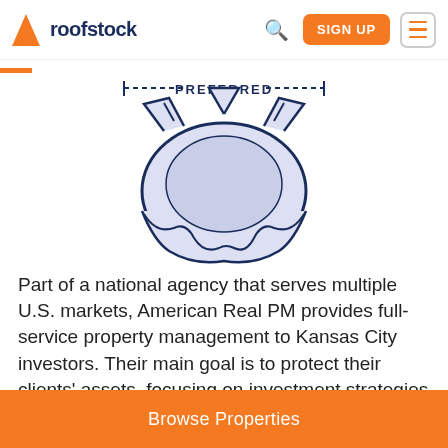roofstock | SIGN UP | menu
[Figure (illustration): Diagram showing a gear/cog shape with a banner label reading PREFERRED above it, depicted in navy blue outline with light purple/lavender fill]
Part of a national agency that serves multiple U.S. markets, American Real PM provides full-service property management to Kansas City investors. Their main goal is to protect their clients' assets, focusing on investment strategies and property maintenance. American Real PM
Browse Properties